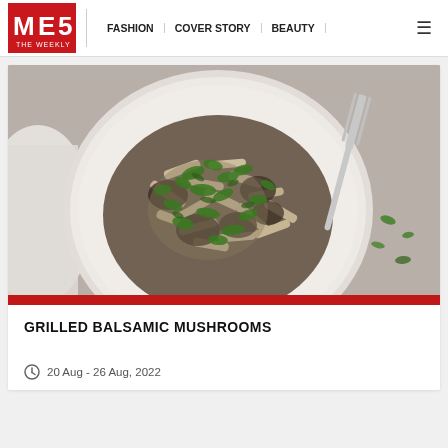MF THE WEEKLY | FASHION | COVER STORY | BEAUTY
[Figure (photo): Overhead photo of a bowl of penne pasta with mushrooms and chopped parsley, with a fork and scattered herbs on the right side]
GRILLED BALSAMIC MUSHROOMS
20 Aug - 26 Aug, 2022